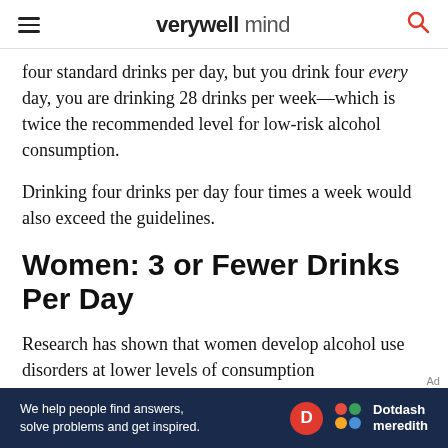verywell mind
four standard drinks per day, but you drink four every day, you are drinking 28 drinks per week—which is twice the recommended level for low-risk alcohol consumption.
Drinking four drinks per day four times a week would also exceed the guidelines.
Women: 3 or Fewer Drinks Per Day
Research has shown that women develop alcohol use disorders at lower levels of consumption
[Figure (other): Dotdash Meredith advertisement banner: 'We help people find answers, solve problems and get inspired.' with Dotdash Meredith logo]